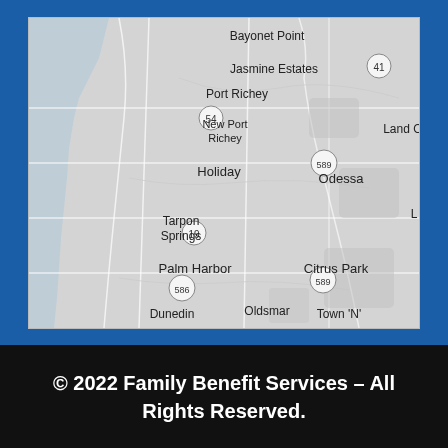[Figure (map): Grayscale Google Maps view of the Tampa Bay area in Florida, showing cities including Bayonet Point, Jasmine Estates, Port Richey, New Port Richey, Holiday, Odessa, Tarpon Springs, Palm Harbor, Citrus Park, Oldsmar, Dunedin, and Town N. Route numbers 41, 54, 19, 586, 589 are visible.]
© 2022 Family Benefit Services – All Rights Reserved.